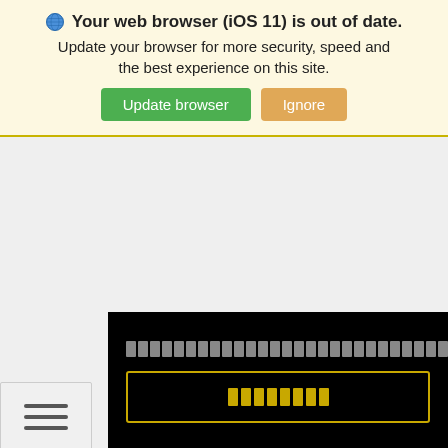[Figure (screenshot): Browser out-of-date warning banner with globe icon, bold title text, subtitle text, and two buttons: green 'Update browser' and tan 'Ignore']
[Figure (screenshot): Black UI panel with Thai script text row and a yellow-bordered button containing Thai script, plus a hamburger menu button at bottom-left on grey background]